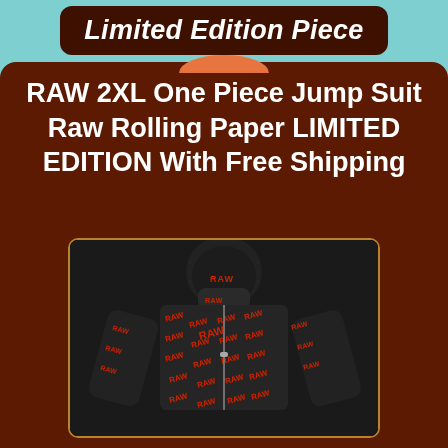Limited Edition Piece
RAW 2XL One Piece Jump Suit Raw Rolling Paper LIMITED EDITION With Free Shipping
[Figure (photo): RAW branded black jumpsuit with all-over red RAW logo print, featuring a hoodie with face mask, worn by a mannequin/model. The suit has a full-zip front and long sleeves.]